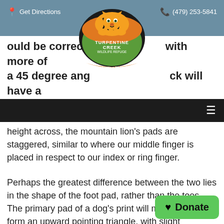Get Directions | (479) 253-5841
[Figure (logo): Turpentine Creek Wildlife Refuge logo — circular logo with a tiger, orange and black text reading 'TURPENTINE CREEK WILDLIFE REFUGE', 'Rescuing Exotic Cats Nationwide', 'Celebrating 30 Years']
would be correct with more of a 45 degree angle, and the track will have a staggered toe placement.
height across, the mountain lion's pads are staggered, similar to where our middle finger is placed in respect to our index or ring finger.
Perhaps the greatest difference between the two lies in the shape of the foot pad, rather than the toes. The primary pad of a dog's print will more or less form an upward pointing triangle, with slight indentations in the bottom edge. A mountain lion's primary pad is much more irregularly shaped, with a pronounced indentation on the top, and two more additionally prominent ones on the
[Figure (other): Green Donate button with heart icon in bottom right corner]